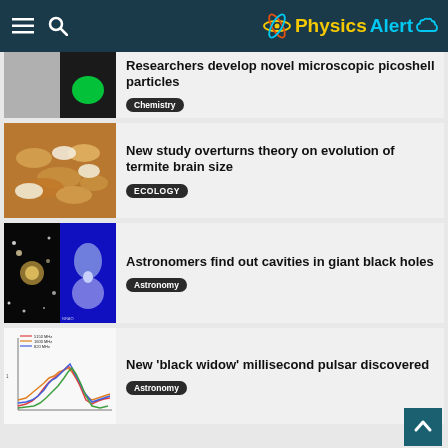Physics Alert
Researchers develop novel microscopic picoshell particles - Chemistry
New study overturns theory on evolution of termite brain size - ECOLOGY
Astronomers find out cavities in giant black holes - Astronomy
New 'black widow' millisecond pulsar discovered - Astronomy